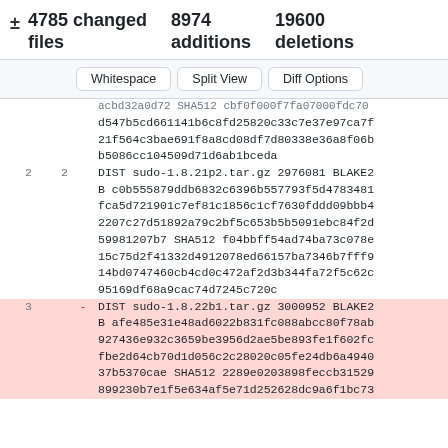± 4785 changed files   8974 additions   19600 deletions
Whitespace | Split View | Diff Options
| line_old | line_new | op | content |
| --- | --- | --- | --- |
|  |  |  | acbd32a0d72 SHA512 cbf0f000f7fa07000fdc70 |
|  |  |  | d547b5cd661141b6c8fd25820c33c7e37e97ca7f |
|  |  |  | 21f564c3bae691f8a8cd08df7d80338e36a8f06b |
|  |  |  | b5086cc104509d71d6ab1bceda |
| 2 | 2 |  | DIST sudo-1.8.21p2.tar.gz 2976081 BLAKE2B c0b555879ddb6832c6396b557793f5d4783481fca5d721901c7ef81c1856c1cf7630fddd09bbb42207c27d51892a79c2bf5c653b5b5091ebc84f2d59981207b7 SHA512 f04bbff54ad74ba73c078e15c75d2f41332d4912078ed66157ba7346b7fff914bd0747460cb4cd0c472af2d3b344fa72f5c62c95169df68a9cac74d7245c720c |
| 3 |  | - | DIST sudo-1.8.22b1.tar.gz 3000952 BLAKE2B afe485e31e48ad6022b831fc088abcc80f78ab927436e932c3659be3956d2ae5be893fe1f602fcfbe2d64cb70d1d056c2c28020c05fe24db6a494037b5370cae SHA512 2289e0203898feccb31529899230b7e1f5e634af5e71d252628dc9a6f1bc73 |